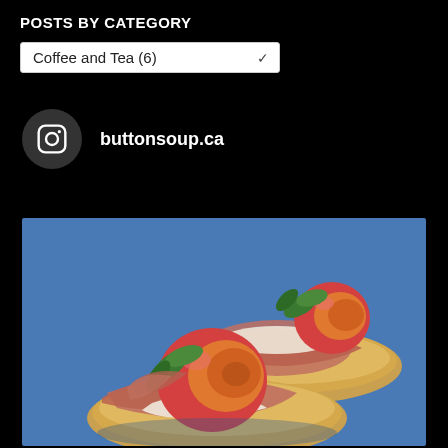POSTS BY CATEGORY
Coffee and Tea  (6)
buttonsoup.ca
[Figure (photo): Close-up food photo of two bruschetta-style appetizers on toasted bread, topped with prosciutto, sliced stone fruit (peach or plum), fresh basil leaves, and white cream cheese or burrata, on a blue background.]